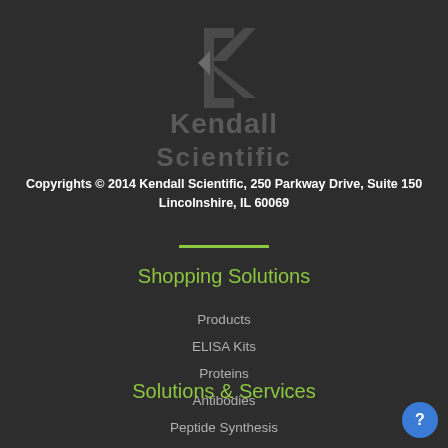[Figure (logo): Kendall Scientific logo with stylized K icon in dark gray and text 'Kendall Scientific' in large gray letters]
Copyrights © 2014 Kendall Scientific, 250 Parkway Drive, Suite 150 Lincolnshire, IL 60069
Shopping Solutions
Products
ELISA Kits
Proteins
Antibodies
Solutions & Services
Peptide Synthesis